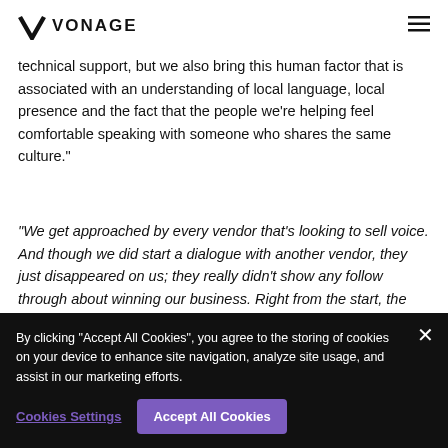VONAGE
technical support, but we also bring this human factor that is associated with an understanding of local language, local presence and the fact that the people we're helping feel comfortable speaking with someone who shares the same culture."
"We get approached by every vendor that's looking to sell voice. And though we did start a dialogue with another vendor, they just disappeared on us; they really didn't show any follow through about winning our business. Right from the start, the
By clicking "Accept All Cookies", you agree to the storing of cookies on your device to enhance site navigation, analyze site usage, and assist in our marketing efforts.
Cookies Settings
Accept All Cookies
Brian Handrigan, Co-founder & CEO,